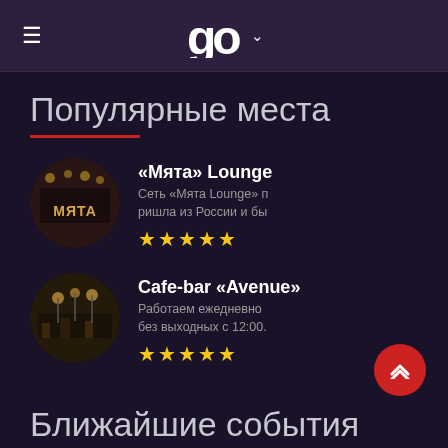☰  go  ˅
Популярные места
«Мята» Lounge — Сеть «Мята Lounge» п ришла из России и бы — ★★★★★
Cafe-bar «Avenue» — Работаем ежедневно без выходных с 12:00. — ★★★★★
Ближайшие события